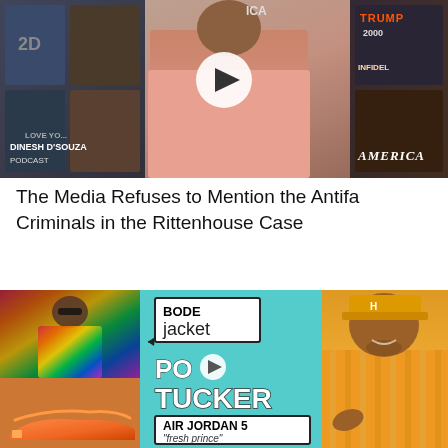[Figure (screenshot): Video thumbnail: Dinesh D'Souza Podcast. Man in pink shirt standing in front of movie poster collage including America and Trump-related titles. White play button overlay in center. Caption 'DINESH D'SOUZA PODCAST' at bottom left, 'AMERICA' at bottom right.]
The Media Refuses to Mention the Antifa Criminals in the Rittenhouse Case
[Figure (screenshot): Video thumbnail for PO Tucker. Left side shows man in colorful patterned jacket with arrow pointing to label 'BODE jacket', and below that an orange sneaker with label 'AIR JORDAN 5 fresh prince'. Center teal background with 'PO TUCKER' text in white with play button. Right side shows man in orange/yellow striped shirt and orange cap.]